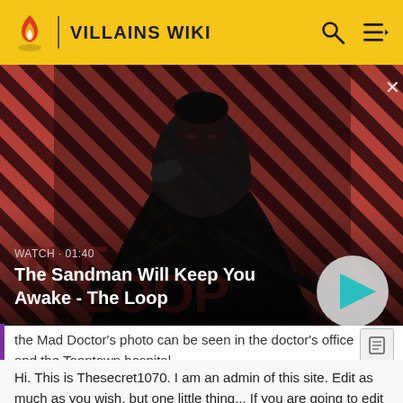VILLAINS WIKI
[Figure (screenshot): Video thumbnail for 'The Sandman Will Keep You Awake - The Loop' showing a pale man in black with a raven on his shoulder against a red and dark diagonal striped background. Duration shown: 01:40. Play button visible.]
the Mad Doctor's photo can be seen in the doctor's office and the Toontown hospital.
Hi. This is Thesecret1070. I am an admin of this site. Edit as much as you wish, but one little thing... If you are going to edit a lot, then make yourself a user and login. Other than that, enjoy Villains Wiki!!!